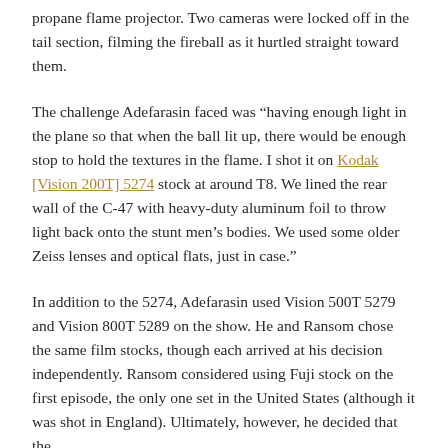propane flame projector. Two cameras were locked off in the tail section, filming the fireball as it hurtled straight toward them.
The challenge Adefarasin faced was “having enough light in the plane so that when the ball lit up, there would be enough stop to hold the textures in the flame. I shot it on Kodak [Vision 200T] 5274 stock at around T8. We lined the rear wall of the C-47 with heavy-duty aluminum foil to throw light back onto the stunt men’s bodies. We used some older Zeiss lenses and optical flats, just in case.”
In addition to the 5274, Adefarasin used Vision 500T 5279 and Vision 800T 5289 on the show. He and Ransom chose the same film stocks, though each arrived at his decision independently. Ransom considered using Fuji stock on the first episode, the only one set in the United States (although it was shot in England). Ultimately, however, he decided that the